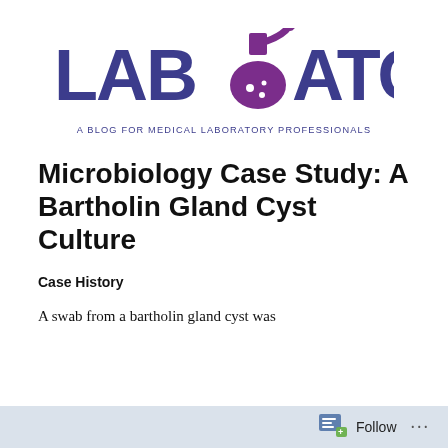[Figure (logo): LABLOGATORY logo with flask icon incorporated into the letter O, purple and dark blue colors. Tagline: A BLOG FOR MEDICAL LABORATORY PROFESSIONALS]
Microbiology Case Study: A Bartholin Gland Cyst Culture
Case History
A swab from a bartholin gland cyst was
Follow ...